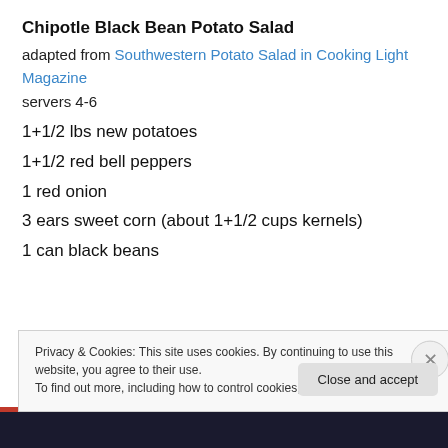Chipotle Black Bean Potato Salad
adapted from Southwestern Potato Salad in Cooking Light Magazine
servers 4-6
1+1/2 lbs new potatoes
1+1/2 red bell peppers
1 red onion
3 ears sweet corn (about 1+1/2 cups kernels)
1 can black beans
Privacy & Cookies: This site uses cookies. By continuing to use this website, you agree to their use.
To find out more, including how to control cookies, see here: Cookie Policy